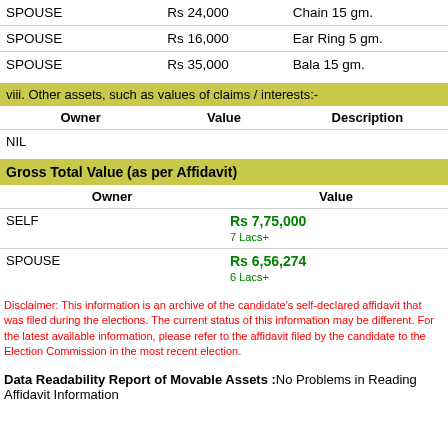| Owner | Value | Description |
| --- | --- | --- |
| SPOUSE | Rs 24,000 | Chain 15 gm. |
| SPOUSE | Rs 16,000 | Ear Ring 5 gm. |
| SPOUSE | Rs 35,000 | Bala 15 gm. |
viii. Other assets, such as values of claims / interests:-
| Owner | Value | Description |
| --- | --- | --- |
| NIL |  |  |
Gross Total Value (as per Affidavit)
| Owner | Value |
| --- | --- |
| SELF | Rs 7,75,000
7 Lacs+ |
| SPOUSE | Rs 6,56,274
6 Lacs+ |
Disclaimer: This information is an archive of the candidate's self-declared affidavit that was filed during the elections. The current status of this information may be different. For the latest available information, please refer to the affidavit filed by the candidate to the Election Commission in the most recent election.
Data Readability Report of Movable Assets :No Problems in Reading Affidavit Information